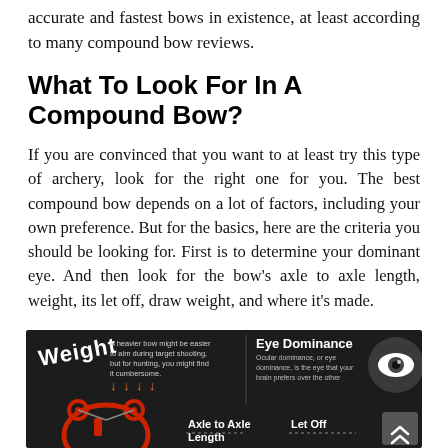accurate and fastest bows in existence, at least according to many compound bow reviews.
What To Look For In A Compound Bow?
If you are convinced that you want to at least try this type of archery, look for the right one for you. The best compound bow depends on a lot of factors, including your own preference. But for the basics, here are the criteria you should be looking for. First is to determine your dominant eye. And then look for the bow's axle to axle length, weight, its let off, draw weight, and where it's made.
[Figure (infographic): Dark infographic about compound bow features: Weight (A heavier bow might be easier to aim during target shooting, but for hunting, you might find it cumbersome), Eye Dominance (Ocular dominance, or eye dominance, is the eye that your brain prefers over the other), Axle to Axle Length, Let Off. Shows a red compound bow illustration and an eye icon.]